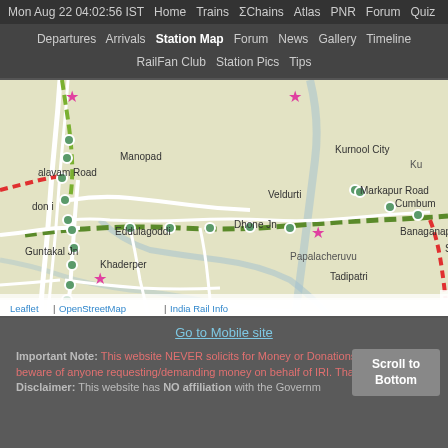Mon Aug 22 04:02:56 IST  Home  Trains  ΣChains  Atlas  PNR  Forum  Quiz
Departures  Arrivals  Station Map  Forum  News  Gallery  Timeline  RailFan Club  Station Pics  Tips
[Figure (map): Interactive rail station map showing railway lines and stations around Kurnool City, Nandyal Jn, Guntakal Jn, Dhone Jn, Veldurti, Banaganapalle, Sanjamala, Tadipatri, Cumbum, Markapur Road, Giddalu areas in Andhra Pradesh, India. Green dashed lines indicate railway routes with circular station markers and star markers for specific stations.]
Go to Mobile site
Important Note: This website NEVER solicits for Money or Donations. Please beware of anyone requesting/demanding money on behalf of IRI. Thanks. Disclaimer: This website has NO affiliation with the Government of India.